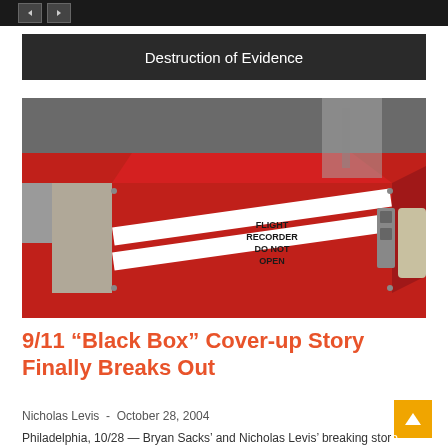Destruction of Evidence
[Figure (photo): Photograph of a red flight recorder (black box) with white diagonal stripes, labeled 'FLIGHT RECORDER DO NOT OPEN', sitting on a grey surface with a red surface visible in the background.]
9/11 “Black Box” Cover-up Story Finally Breaks Out
Nicholas Levis - October 28, 2004
Philadelphia, 10/28 - Bryan Sacks' and Nicholas Levis' breaking story